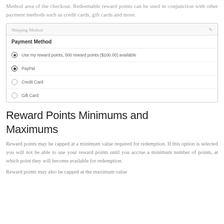Method area of the checkout. Redeemable reward points can be used in conjunction with other payment methods such as credit cards, gift cards and more.
[Figure (screenshot): Checkout UI screenshot showing Payment Method section with options: 'Use my reward points, 500 reward points ($100.00) available' (checked), PayPal (selected), Credit Card, Gift Card]
Reward Points Minimums and Maximums
Reward points may be capped at a minimum value required for redemption. If this option is selected you will not be able to use your reward points until you accrue a minimum number of points, at which point they will become available for redemption.
Reward points may also be capped at the maximum value